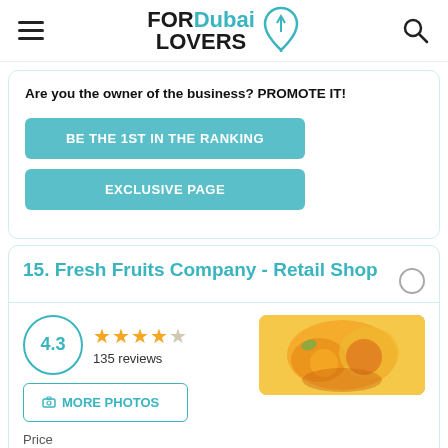FOR Dubai LOVERS
Are you the owner of the business? PROMOTE IT!
BE THE 1ST IN THE RANKING
EXCLUSIVE PAGE
15. Fresh Fruits Company - Retail Shop
[Figure (infographic): Rating circle showing 4.3, 4 and a half stars out of 5 (4 filled, 1 half), 135 reviews, MORE PHOTOS button, fruit image thumbnail]
Price